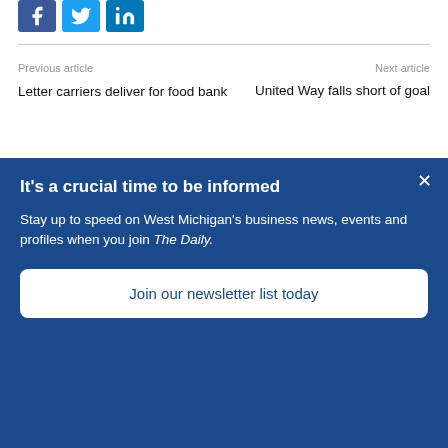[Figure (logo): Social media share icons: Facebook (blue), Twitter (light blue), LinkedIn (dark blue)]
Previous article
Next article
Letter carriers deliver for food bank
United Way falls short of goal
[Figure (photo): A smiling blonde woman in a professional setting]
It's a crucial time to be informed
Stay up to date on West Michigan's business news, events and profiles when you join The Daily.
Join our newsletter list today